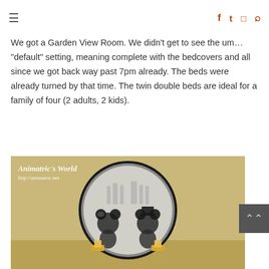≡  f  🐦  📷  🔍
We got a Garden View Room. We didn't get to see the um… "default" setting, meaning complete with the bedcovers and all since we got back way past 7pm already. The beds were already turned by that time. The twin double beds are ideal for a family of four (2 adults, 2 kids).
[Figure (photo): A decorative round plate/mirror with a black frame featuring an etched illustration of Mickey Mouse and Minnie Mouse in a classic style, with a castle in the background. Watermark reads 'Animatric's World http://animatric.net']